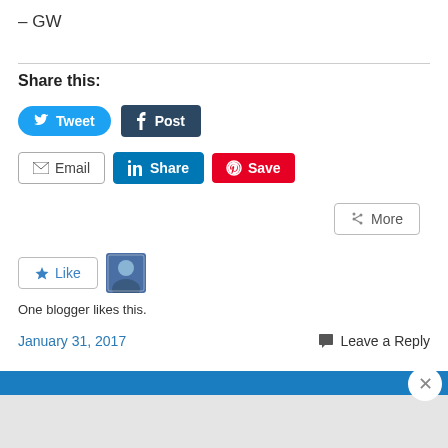– GW
Share this:
[Figure (screenshot): Social sharing buttons: Tweet (Twitter), Post (Tumblr), Email, Share (LinkedIn), Save (Pinterest), More]
[Figure (screenshot): Like button and blogger avatar. Text: One blogger likes this.]
One blogger likes this.
January 31, 2017   Leave a Reply
[Figure (screenshot): Blue header bar partially visible at bottom]
Advertisements
[Figure (screenshot): Advertisement: Build a writing habit. Post on the go. GET THE APP with WordPress logo]